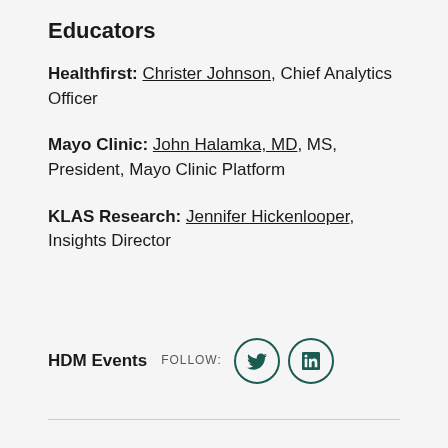Educators
Healthfirst: Christer Johnson, Chief Analytics Officer
Mayo Clinic: John Halamka, MD, MS, President, Mayo Clinic Platform
KLAS Research: Jennifer Hickenlooper, Insights Director
HDM Events FOLLOW: [Twitter icon] [LinkedIn icon]